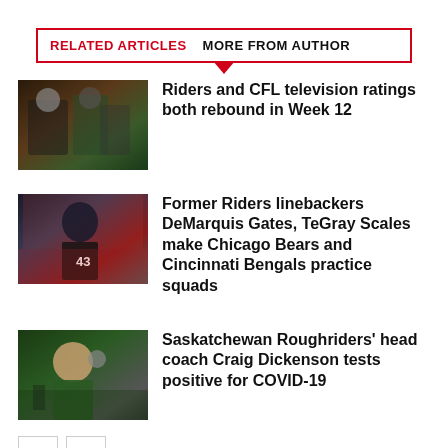RELATED ARTICLES   MORE FROM AUTHOR
[Figure (photo): Football players on field, action shot]
Riders and CFL television ratings both rebound in Week 12
[Figure (photo): Football player #43 in dark uniform on field]
Former Riders linebackers DeMarquis Gates, TeGray Scales make Chicago Bears and Cincinnati Bengals practice squads
[Figure (photo): Coach Craig Dickenson on sideline in green shirt with headset]
Saskatchewan Roughriders' head coach Craig Dickenson tests positive for COVID-19